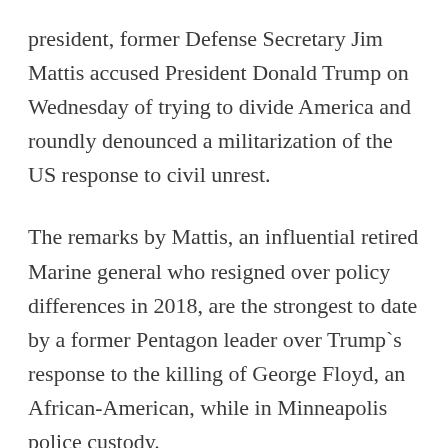president, former Defense Secretary Jim Mattis accused President Donald Trump on Wednesday of trying to divide America and roundly denounced a militarization of the US response to civil unrest.
The remarks by Mattis, an influential retired Marine general who resigned over policy differences in 2018, are the strongest to date by a former Pentagon leader over Trump`s response to the killing of George Floyd, an African-American, while in Minneapolis police custody.
They accompany a growing affirmation from within the Pentagon`s leadership of the U.S. military`s core